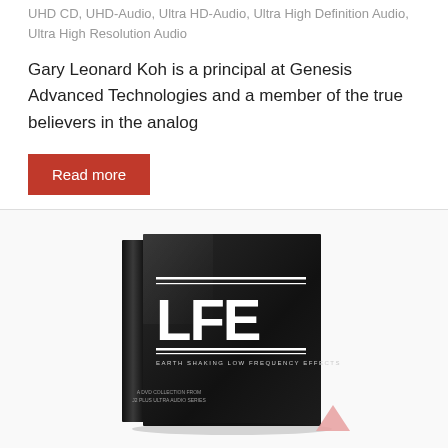UHD CD, UHD-Audio, Ultra HD-Audio, Ultra High Definition Audio, Ultra High Resolution Audio
Gary Leonard Koh is a principal at Genesis Advanced Technologies and a member of the true believers in the analog
Read more
[Figure (photo): DVD/disc case with black cover showing 'LFE' in large bold white letters, with horizontal lines above and below the letters, subtitle text reading 'EARTH SHAKING LOW FREQUENCY EFFECTS', and additional small text at the bottom.]